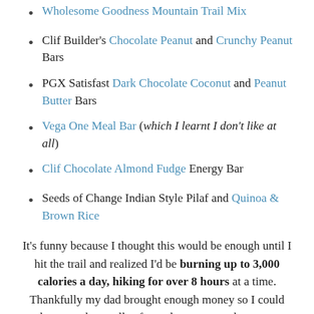Wholesome Goodness Mountain Trail Mix
Clif Builder's Chocolate Peanut and Crunchy Peanut Bars
PGX Satisfast Dark Chocolate Coconut and Peanut Butter Bars
Vega One Meal Bar (which I learnt I don't like at all)
Clif Chocolate Almond Fudge Energy Bar
Seeds of Change Indian Style Pilaf and Quinoa & Brown Rice
It's funny because I thought this would be enough until I hit the trail and realized I'd be burning up to 3,000 calories a day, hiking for over 8 hours at a time. Thankfully my dad brought enough money so I could splurge on the small cafes and restaurants that are run by local natives on the reservation land. Next time I would definitely bring more trail mix and CHOCOLATE BARS